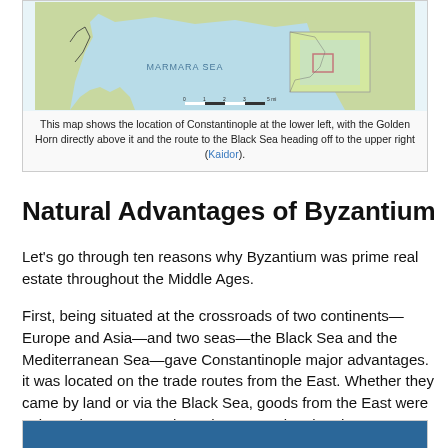[Figure (map): Map showing the location of Constantinople at the lower left, with the Golden Horn directly above it and the route to the Black Sea heading off to the upper right. Shows Marmara Sea labeled in the center.]
This map shows the location of Constantinople at the lower left, with the Golden Horn directly above it and the route to the Black Sea heading off to the upper right (Kaidor).
Natural Advantages of Byzantium
Let's go through ten reasons why Byzantium was prime real estate throughout the Middle Ages.
First, being situated at the crossroads of two continents—Europe and Asia—and two seas—the Black Sea and the Mediterranean Sea—gave Constantinople major advantages. it was located on the trade routes from the East. Whether they came by land or via the Black Sea, goods from the East were going to have to pass through Constantinople. That meant an assured stream of customs revenue.
[Figure (map): Bottom portion of another map shown, with blue water area visible at the top of the frame.]